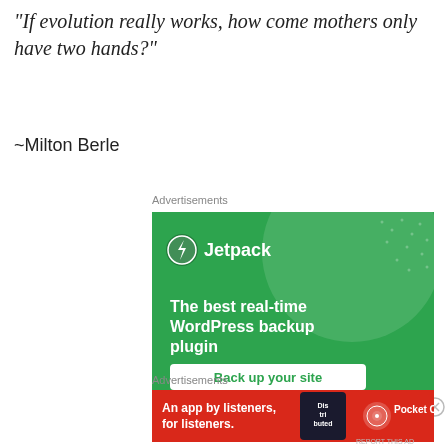“If evolution really works, how come mothers only have two hands?”
~Milton Berle
Advertisements
[Figure (screenshot): Jetpack advertisement: green background with Jetpack logo, large circle graphic, text 'The best real-time WordPress backup plugin' and a white button 'Back up your site']
Advertisements
[Figure (screenshot): Pocket Casts advertisement: red background with text 'An app by listeners, for listeners.' and Pocket Casts logo on right, phone image in center]